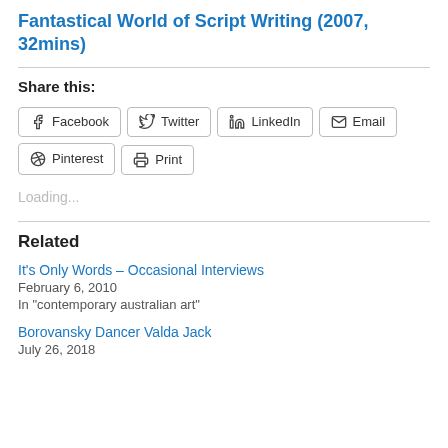Fantastical World of Script Writing (2007, 32mins)
Share this:
[Figure (infographic): Social sharing buttons: Facebook, Twitter, LinkedIn, Email, Pinterest, Print]
Loading...
Related
It's Only Words – Occasional Interviews
February 6, 2010
In "contemporary australian art"
Borovansky Dancer Valda Jack
July 26, 2018